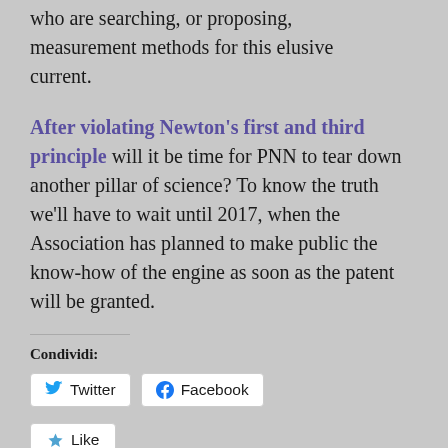who are searching, or proposing, measurement methods for this elusive current.
After violating Newton's first and third principle will it be time for PNN to tear down another pillar of science? To know the truth we'll have to wait until 2017, when the Association has planned to make public the know-how of the engine as soon as the patent will be granted.
Condividi:
[Figure (other): Twitter and Facebook share buttons, and a Like button]
Be the first to like this.